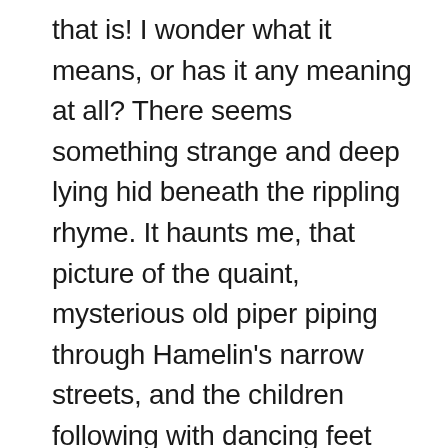that is! I wonder what it means, or has it any meaning at all? There seems something strange and deep lying hid beneath the rippling rhyme. It haunts me, that picture of the quaint, mysterious old piper piping through Hamelin's narrow streets, and the children following with dancing feet and thoughtful, eager faces. The old folks try to stay them, but the children pay no heed. They hear the weird, witched music and must follow. The games are left unfinished and the playthings drop from their careless hands. They know not whither they are hastening. The mystic music calls to them, and they follow, heedless and unasking where. It stirs and vibrates in their hearts and other sounds grow faint. So they wander through Pied Piper